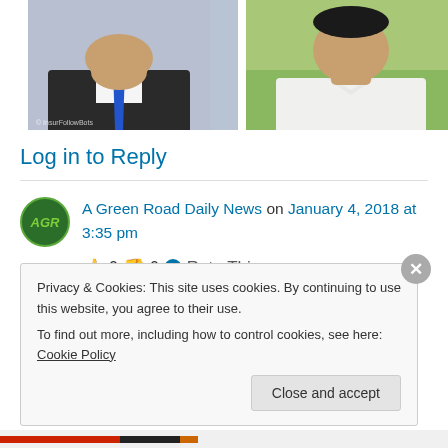[Figure (photo): Two photos side by side: left shows a man in dark suit with blue tie, right shows a man in white shirt outdoors with green background]
Log in to Reply
A Green Road Daily News on January 4, 2018 at 3:35 pm
👍 0 👎 0 ℹ Rate This
Privacy & Cookies: This site uses cookies. By continuing to use this website, you agree to their use.
To find out more, including how to control cookies, see here: Cookie Policy
Close and accept